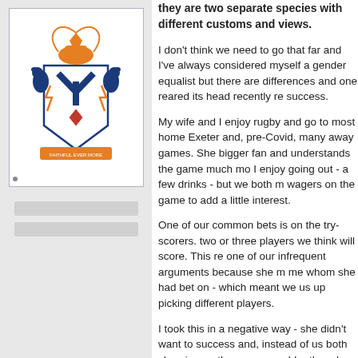[Figure (logo): Coat of arms / crest logo with shield featuring a Y shape and lightning bolts, flanked by two blue lions, with ornate decoration above and a motto banner below. Colors include blue, orange/gold, and white.]
they are two separate species with different customs and views.
I don't think we need to go that far and I've always considered myself a gender equalist but there are differences and one reared its head recently re success.
My wife and I enjoy rugby and go to most home Exeter and, pre-Covid, many away games. She bigger fan and understands the game much more I enjoy going out - a few drinks - but we both m wagers on the game to add a little interest.
One of our common bets is on the try-scorers. two or three players we think will score. This re one of our infrequent arguments because she me whom she had bet on - which meant we us up picking different players.
I took this in a negative way - she didn't want to success and, instead of us both cheering on the person, would rather she collected her winning my money. I rather spitefully described it as it's that you succeed, everyone else must fail. Tha take on it at least, but hers was completely diffe whether the difference was because of gende